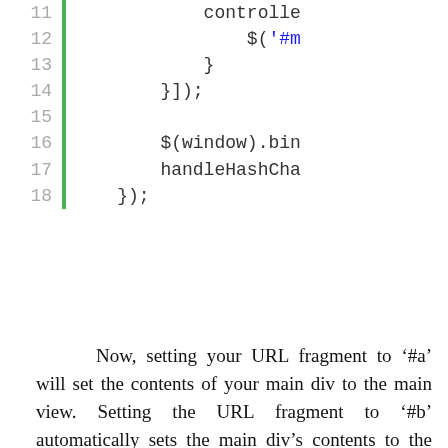[Figure (screenshot): Code snippet showing lines 11-18 of JavaScript code with green left border, line numbers in gray, and a blue string literal '#m']
Now, setting your URL fragment to '#a' will set the contents of your main div to the main view. Setting the URL fragment to '#b' automatically sets the main div's contents to the other view.
And that, combining Closure templates and my dispatcher, is all you need to